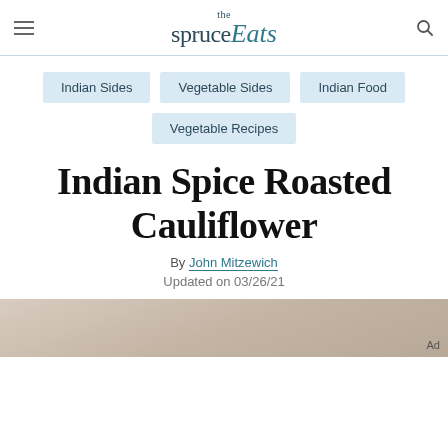the spruce Eats
Indian Sides
Vegetable Sides
Indian Food
Vegetable Recipes
Indian Spice Roasted Cauliflower
By John Mitzewich
Updated on 03/26/21
[Figure (photo): Partial photo of roasted cauliflower dish at bottom of page with Ad label]